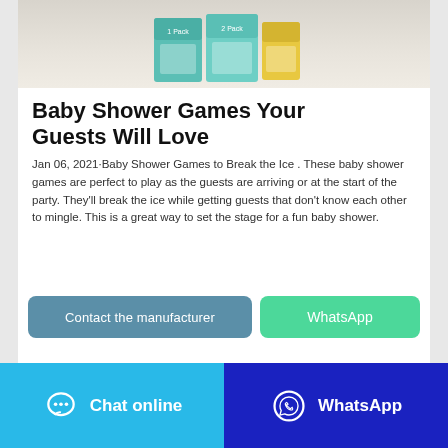[Figure (photo): Product packaging image - baby product boxes on light background]
Baby Shower Games Your Guests Will Love
Jan 06, 2021·Baby Shower Games to Break the Ice . These baby shower games are perfect to play as the guests are arriving or at the start of the party. They'll break the ice while getting guests that don't know each other to mingle. This is a great way to set the stage for a fun baby shower.
Contact the manufacturer
WhatsApp
Chat online
WhatsApp